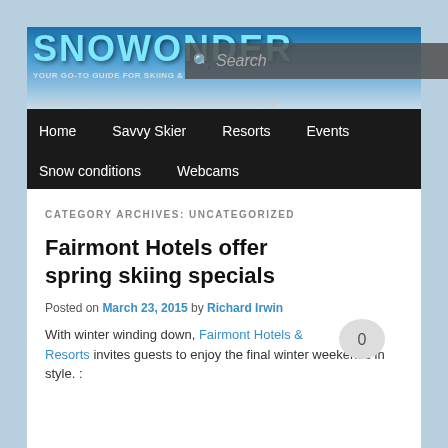SNOWONDER — YOUR GO-TO GUIDE FOR SKIING &
A snowboarder tears up the slopes at Mammoth Mountain. (Photo by Peter Manning)
[Figure (screenshot): Search box overlay on header banner]
Home | Savvy Skier | Resorts | Events | Snow conditions | Webcams
CATEGORY ARCHIVES: UNCATEGORIZED
Fairmont Hotels offer spring skiing specials
Posted on March 23, 2015 by Richard Irwin
With winter winding down, Fairmont Hotels & Resorts invites guests to enjoy the final winter weekends in style. :